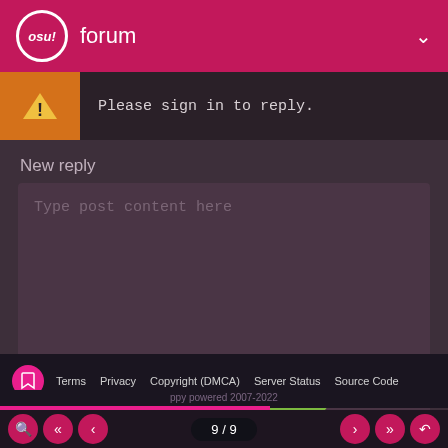osu! forum
Please sign in to reply.
New reply
Type post content here
Preview   Post
Terms  Privacy  Copyright (DMCA)  Server Status  Source Code
ppy powered 2007-2022
9 / 9